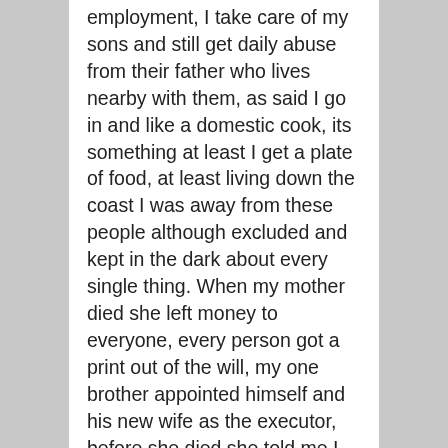employment, I take care of my sons and still get daily abuse from their father who lives nearby with them, as said I go in and like a domestic cook, its something at least I get a plate of food, at least living down the coast I was away from these people although excluded and kept in the dark about every single thing. When my mother died she left money to everyone, every person got a print out of the will, my one brother appointed himself and his new wife as the executor, before she died she told me I would inherit to the amount of R40000 each, I got six thousand deposited into my bank no print out of the will, she had also told me that when